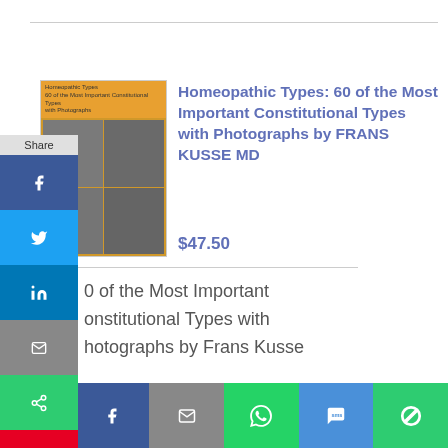[Figure (photo): Book cover of Homeopathic Types showing portraits of people in a 2x2 grid on an orange background]
Homeopathic Types: 60 of the Most Important Constitutional Types with Photographs by FRANS KUSSE MD
$47.50
60 of the Most Important Constitutional Types with Photographs by Frans Kusse
Add to cart   Details